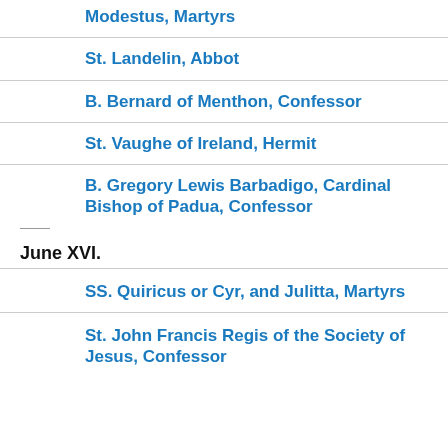Modestus, Martyrs
St. Landelin, Abbot
B. Bernard of Menthon, Confessor
St. Vaughe of Ireland, Hermit
B. Gregory Lewis Barbadigo, Cardinal Bishop of Padua, Confessor
June XVI.
SS. Quiricus or Cyr, and Julitta, Martyrs
St. John Francis Regis of the Society of Jesus, Confessor